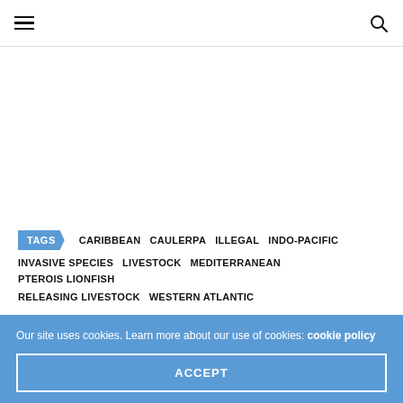≡ [hamburger menu] [search icon]
TAGS  CARIBBEAN  CAULERPA  ILLEGAL  INDO-PACIFIC  INVASIVE SPECIES  LIVESTOCK  MEDITERRANEAN  PTEROIS LIONFISH  RELEASING LIVESTOCK  WESTERN ATLANTIC
Our site uses cookies. Learn more about our use of cookies: cookie policy
ACCEPT